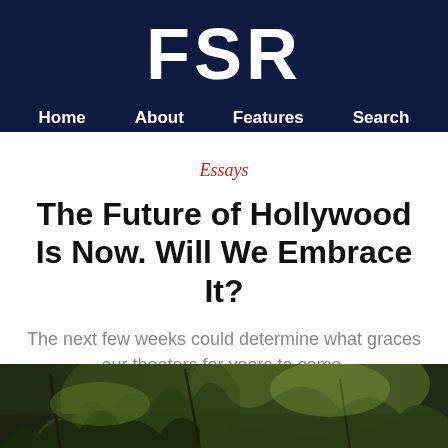FSR
Home   About   Features   Search
Essays
The Future of Hollywood Is Now. Will We Embrace It?
The next few weeks could determine what graces our theaters for years to come.
[Figure (photo): Outdoor scene with trees and foliage, partial view at bottom of page]